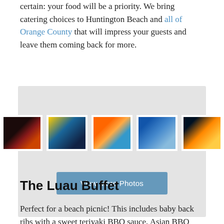certain: your food will be a priority. We bring catering choices to Huntington Beach and all of Orange County that will impress your guests and leave them coming back for more.
[Figure (photo): Gallery widget with five thumbnail event/catering photos and a 'View More Photos' button on a light gray background.]
The Luau Buffet
Perfect for a beach picnic! This includes baby back ribs with a sweet teriyaki BBQ sauce, Asian BBQ…